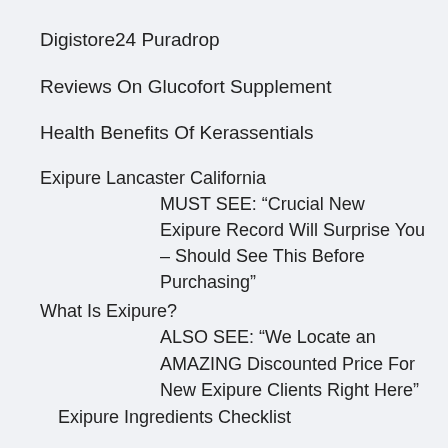Digistore24 Puradrop
Reviews On Glucofort Supplement
Health Benefits Of Kerassentials
Exipure Lancaster California
MUST SEE: “Crucial New Exipure Record Will Surprise You – Should See This Before Purchasing”
What Is Exipure?
ALSO SEE: “We Locate an AMAZING Discounted Price For New Exipure Clients Right Here”
Exipure Ingredients Checklist